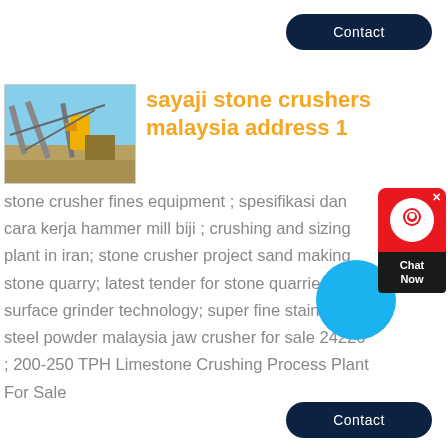[Figure (other): Dark navy rounded rectangle button labeled 'Contact' at top right]
[Figure (photo): Photo of a stone crushing plant / industrial machinery with conveyor belts and yellow equipment against a blue sky]
sayaji stone crushers malaysia address 1
stone crusher fines equipment ; spesifikasi dan cara kerja hammer mill biji ; crushing and sizing plant in iran; stone crusher project sand making stone quarry; latest tender for stone quarries; surface grinder technology; super fine stainless steel powder malaysia jaw crusher for sale 24226 ; 200-250 TPH Limestone Crushing Process Plant For Sale
[Figure (other): Dark navy rounded rectangle button labeled 'Contact' at bottom right]